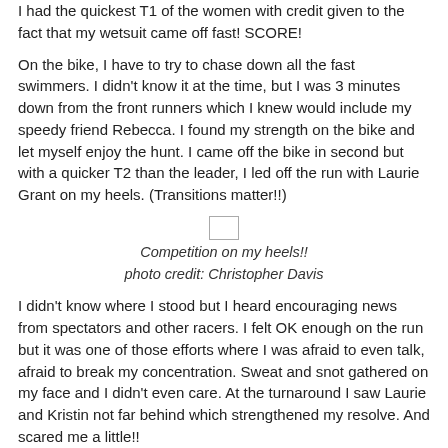I had the quickest T1 of the women with credit given to the fact that my wetsuit came off fast! SCORE!
On the bike, I have to try to chase down all the fast swimmers. I didn't know it at the time, but I was 3 minutes down from the front runners which I knew would include my speedy friend Rebecca. I found my strength on the bike and let myself enjoy the hunt. I came off the bike in second but with a quicker T2 than the leader, I led off the run with Laurie Grant on my heels. (Transitions matter!!)
[Figure (photo): Placeholder box representing a photo (image not visible in this crop)]
Competition on my heels!!
photo credit: Christopher Davis
I didn't know where I stood but I heard encouraging news from spectators and other racers. I felt OK enough on the run but it was one of those efforts where I was afraid to even talk, afraid to break my concentration. Sweat and snot gathered on my face and I didn't even care. At the turnaround I saw Laurie and Kristin not far behind which strengthened my resolve. And scared me a little!!